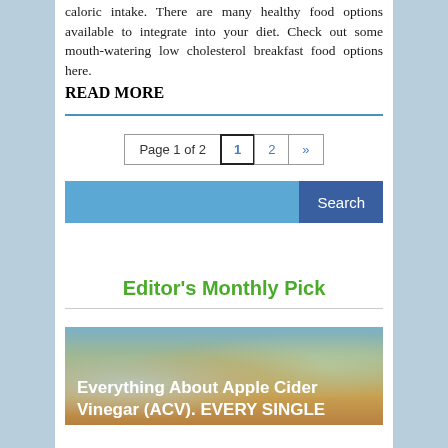caloric intake. There are many healthy food options available to integrate into your diet. Check out some mouth-watering low cholesterol breakfast food options here.
READ MORE
Page 1 of 2  1  2  »
[Figure (screenshot): Search bar with blue input field and dark blue Search button]
Editor's Monthly Pick
[Figure (photo): Mason jars with colorful contents, overlay text: Everything About Apple Cider Vinegar (ACV). EVERY SINGLE]